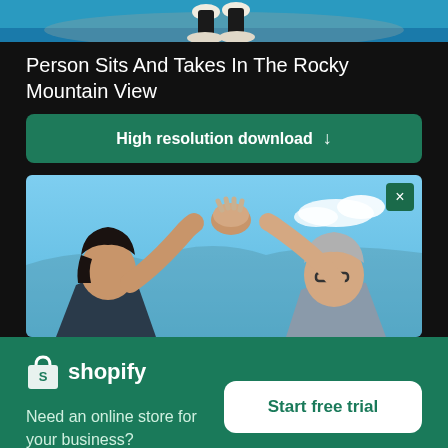[Figure (photo): Top strip showing bottom portion of a person sitting at a rocky mountain view, only legs/feet visible against blue water background]
Person Sits And Takes In The Rocky Mountain View
High resolution download ↓
[Figure (photo): Two people giving each other a high five against a blue sky with clouds. One person has dark hair and wears a dark jacket, the other has grey hair and glasses.]
[Figure (logo): Shopify logo - shopping bag icon with white S on green background, followed by white text 'shopify']
Need an online store for your business?
Start free trial